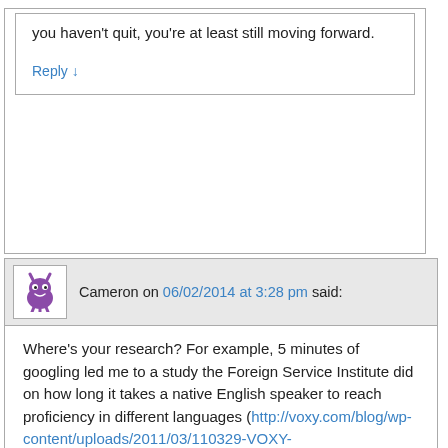you haven't quit, you're at least still moving forward.
Reply ↓
Cameron on 06/02/2014 at 3:28 pm said:
Where's your research? For example, 5 minutes of googling led me to a study the Foreign Service Institute did on how long it takes a native English speaker to reach proficiency in different languages (http://voxy.com/blog/wp-content/uploads/2011/03/110329-VOXY-HARDLANGUAGES-FINAL-WIDE.png).